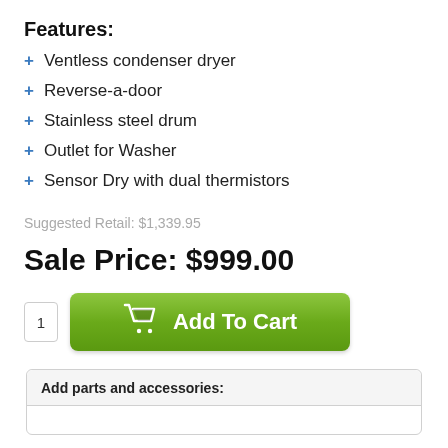Features:
+ Ventless condenser dryer
+ Reverse-a-door
+ Stainless steel drum
+ Outlet for Washer
+ Sensor Dry with dual thermistors
Suggested Retail: $1,339.95
Sale Price: $999.00
[Figure (other): Quantity box showing '1' and green 'Add To Cart' button with shopping cart icon]
Add parts and accessories: